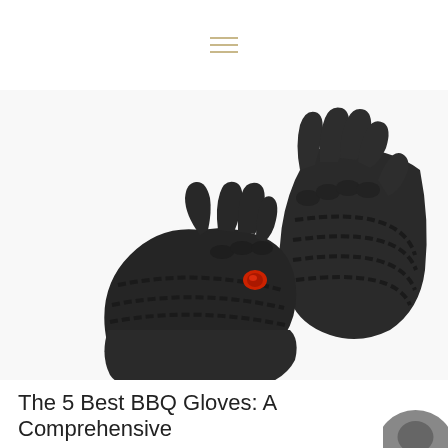≡
[Figure (photo): Two black BBQ/oven gloves with silicone grip patterns and a small red logo, shown crossed over each other on a white background.]
The 5 Best BBQ Gloves: A Comprehensive